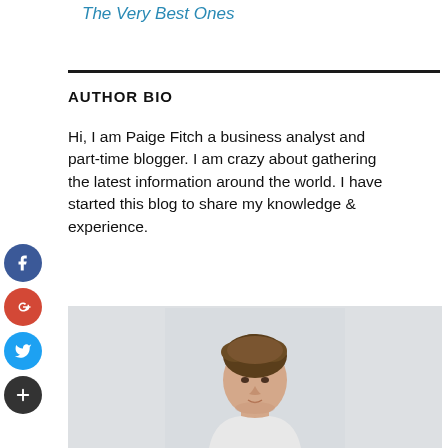The Very Best Ones
AUTHOR BIO
Hi, I am Paige Fitch a business analyst and part-time blogger. I am crazy about gathering the latest information around the world. I have started this blog to share my knowledge & experience.
[Figure (photo): Author photo: man with curly brown hair on light gray background]